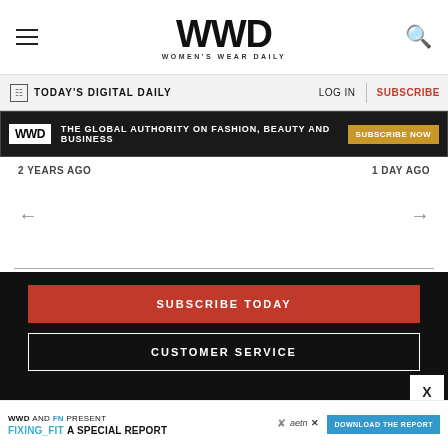WWD — Women's Wear Daily
TODAY'S DIGITAL DAILY   LOG IN   SUBSCRIBE
[Figure (infographic): WWD banner ad: THE GLOBAL AUTHORITY ON FASHION, BEAUTY AND BUSINESS — SUBSCRIBE NOW button]
2 YEARS AGO
1 DAY AGO
[Figure (infographic): Navigation arrows: left arrow and right arrow for carousel]
SUBSCRIBE TODAY
CUSTOMER SERVICE
[Figure (infographic): Ad banner: WWD AND FN PRESENT FIXING_FIT A SPECIAL REPORT — DOWNLOAD THE REPORT button, aetn logo]